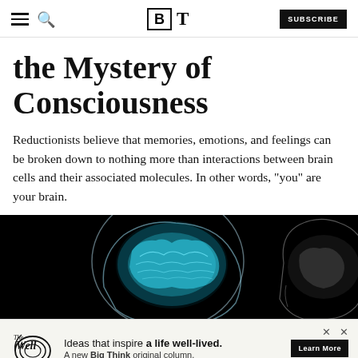BT — Big Think — SUBSCRIBE
the Mystery of Consciousness
Reductionists believe that memories, emotions, and feelings can be broken down to nothing more than interactions between brain cells and their associated molecules. In other words, "you" are your brain.
[Figure (illustration): 3D rendered image of a transparent human head showing a glowing blue/cyan brain on a black background, with a second head profile visible on the right side.]
Ideas that inspire a life well-lived. A new Big Think original column. Learn More